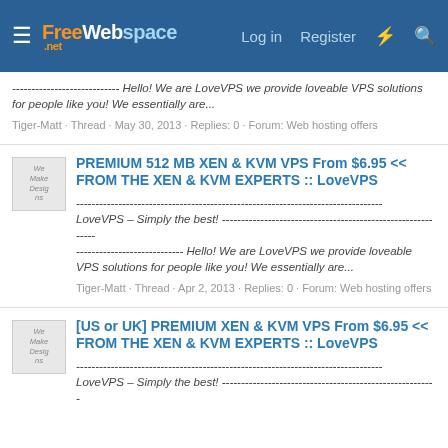FreeWebSpace.net — Log in | Register
---------------------------- Hello! We are LoveVPS we provide loveable VPS solutions for people like you! We essentially are...
Tiger-Matt · Thread · May 30, 2013 · Replies: 0 · Forum: Web hosting offers
PREMIUM 512 MB XEN & KVM VPS From $6.95 << FROM THE XEN & KVM EXPERTS :: LoveVPS
-------------------------------------------------------------------------------- LoveVPS – Simply the best! ------------------------------------------------------------ ---------------------------- Hello! We are LoveVPS we provide loveable VPS solutions for people like you! We essentially are...
Tiger-Matt · Thread · Apr 2, 2013 · Replies: 0 · Forum: Web hosting offers
[US or UK] PREMIUM XEN & KVM VPS From $6.95 << FROM THE XEN & KVM EXPERTS :: LoveVPS
-------------------------------------------------------------------------------- LoveVPS – Simply the best! --------------------------------------------------------